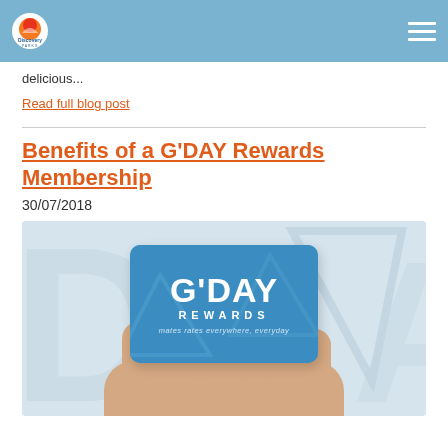Discovery Parks
delicious...
Read full blog post
Benefits of a G'DAY Rewards Membership
30/07/2018
[Figure (photo): A hand holding a blue G'DAY Rewards membership card with the text 'G'DAY REWARDS – mates rates everywhere, everyday']